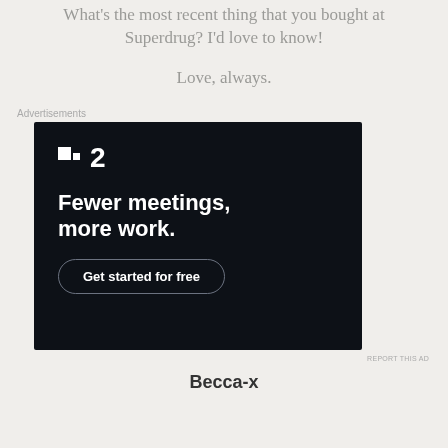What's the most recent thing that you bought at Superdrug? I'd love to know!
Love, always.
[Figure (other): Advertisement banner for a project management app (possibly Basecamp/HEY) showing logo '▪2', headline 'Fewer meetings, more work.' and a 'Get started for free' button on dark navy background]
Becca-x